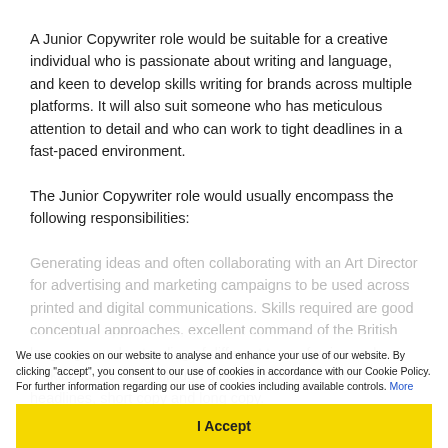A Junior Copywriter role would be suitable for a creative individual who is passionate about writing and language, and keen to develop skills writing for brands across multiple platforms. It will also suit someone who has meticulous attention to detail and who can work to tight deadlines in a fast-paced environment.
The Junior Copywriter role would usually encompass the following responsibilities:
Generating ideas and often collaborating with an Art Director for advertising and marketing campaigns to be used across printed and digital communications. Skills required are good conceptual approaches, excellent command of the British language, understanding of different tone of voice and making ideas work through different channels. Writing headlines, short copy and long copy.
We use cookies on our website to analyse and enhance your use of our website. By clicking "accept", you consent to our use of cookies in accordance with our Cookie Policy. For further information regarding our use of cookies including available controls. More
I Accept